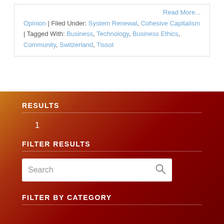Read More...
Opinion | Filed Under: System Renewal, Cohesive Capitalism | Tagged With: Business, Technology, Business Ethics, Community, Switzerland, Tissot
RESULTS
1
FILTER RESULTS
Search
FILTER BY CATEGORY